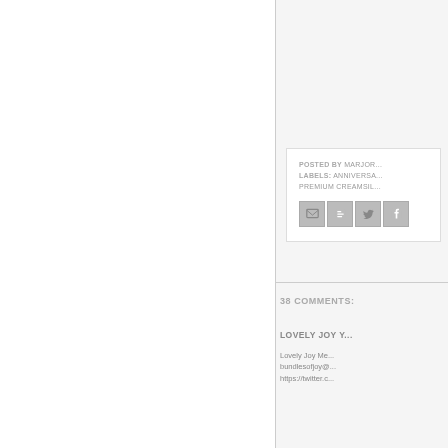POSTED BY MARJOR... LABELS: ANNIVERSA... PREMIUM CREAMSIL...
[Figure (screenshot): Social share icons: email, blogger, twitter, facebook]
38 COMMENTS:
LOVELY JOY Y...
Lovely Joy Me... bundlesofjoy@... https://twitter.c...
Reply